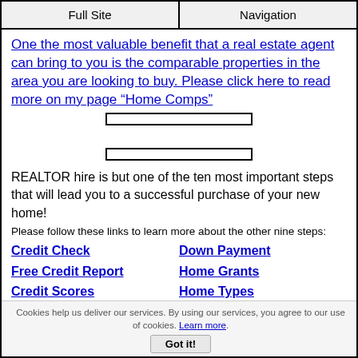Full Site | Navigation
One the most valuable benefit that a real estate agent can bring to you is the comparable properties in the area you are looking to buy. Please click here to read more on my page “Home Comps”
REALTOR hire is but one of the ten most important steps that will lead you to a successful purchase of your new home!
Please follow these links to learn more about the other nine steps:
Credit Check
Free Credit Report
Credit Scores
Down Payment
Home Grants
Home Types
Cookies help us deliver our services. By using our services, you agree to our use of cookies. Learn more.
Got it!